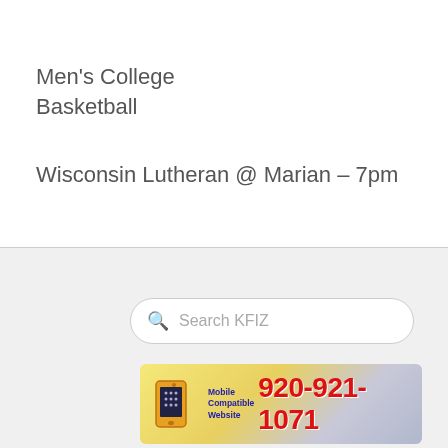Men's College Basketball
Wisconsin Lutheran @ Marian – 7pm
[Figure (screenshot): Search bar with magnifying glass icon and placeholder text 'Search KFIZ']
[Figure (infographic): Mobile Compatible Website banner with phone icon and phone number 920-921-1071 in red]
[Figure (infographic): Red banner with text 'Click Here for Closings &']